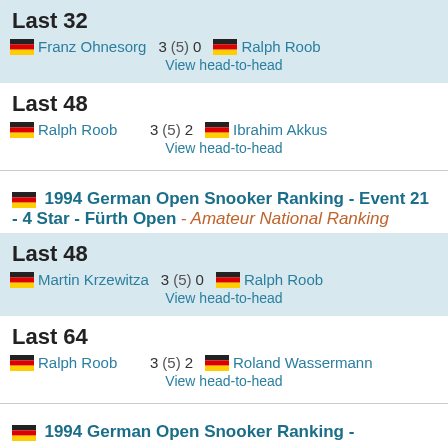Last 32
Franz Ohnesorg 3 (5) 0 Ralph Roob
View head-to-head
Last 48
Ralph Roob 3 (5) 2 Ibrahim Akkus
View head-to-head
1994 German Open Snooker Ranking - Event 21 - 4 Star - Fürth Open - Amateur National Ranking
Last 48
Martin Krzewitza 3 (5) 0 Ralph Roob
View head-to-head
Last 64
Ralph Roob 3 (5) 2 Roland Wassermann
View head-to-head
1994 German Open Snooker Ranking -